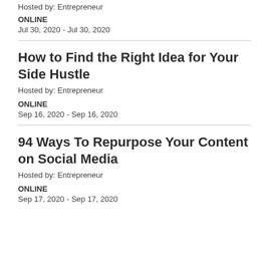Hosted by: Entrepreneur
ONLINE
Jul 30, 2020 - Jul 30, 2020
How to Find the Right Idea for Your Side Hustle
Hosted by: Entrepreneur
ONLINE
Sep 16, 2020 - Sep 16, 2020
94 Ways To Repurpose Your Content on Social Media
Hosted by: Entrepreneur
ONLINE
Sep 17, 2020 - Sep 17, 2020